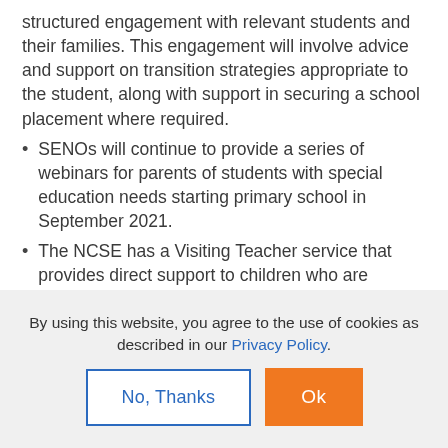structured engagement with relevant students and their families. This engagement will involve advice and support on transition strategies appropriate to the student, along with support in securing a school placement where required.
SENOs will continue to provide a series of webinars for parents of students with special education needs starting primary school in September 2021.
The NCSE has a Visiting Teacher service that provides direct support to children who are blind/visually impaired and deaf/hard of hearing
By using this website, you agree to the use of cookies as described in our Privacy Policy.
Ok
No, Thanks